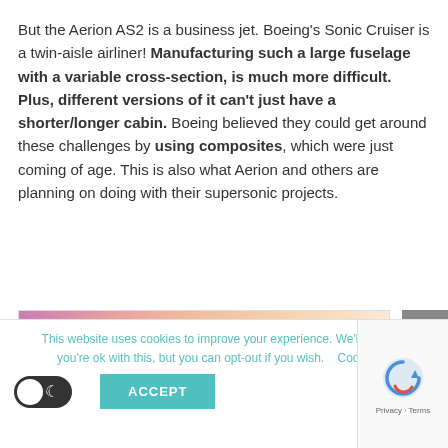But the Aerion AS2 is a business jet. Boeing's Sonic Cruiser is a twin-aisle airliner! Manufacturing such a large fuselage with a variable cross-section, is much more difficult. Plus, different versions of it can't just have a shorter/longer cabin. Boeing believed they could get around these challenges by using composites, which were just coming of age. This is also what Aerion and others are planning on doing with their supersonic projects.
[Figure (photo): Partial image with pink-to-peach gradient, likely top of an aircraft or illustration]
This website uses cookies to improve your experience. We'll assume you're ok with this, but you can opt-out if you wish. Cookie se...